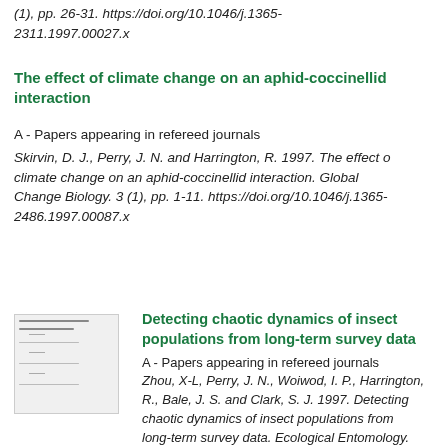(1), pp. 26-31. https://doi.org/10.1046/j.1365-2311.1997.00027.x
The effect of climate change on an aphid-coccinellid interaction
A - Papers appearing in refereed journals
Skirvin, D. J., Perry, J. N. and Harrington, R. 1997. The effect of climate change on an aphid-coccinellid interaction. Global Change Biology. 3 (1), pp. 1-11. https://doi.org/10.1046/j.1365-2486.1997.00087.x
[Figure (other): Thumbnail preview of a document page]
Detecting chaotic dynamics of insect populations from long-term survey data
A - Papers appearing in refereed journals
Zhou, X-L, Perry, J. N., Woiwod, I. P., Harrington, R., Bale, J. S. and Clark, S. J. 1997. Detecting chaotic dynamics of insect populations from long-term survey data. Ecological Entomology. 22 (2), pp. 231-241. https://doi.org/10.1046/j.1365-